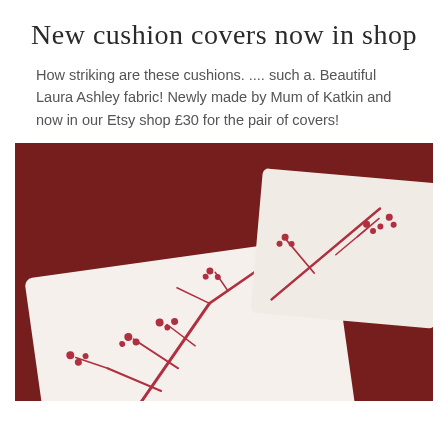New cushion covers now in shop
How striking are these cushions. .... such a. Beautiful Laura Ashley fabric! Newly made by Mum of Katkin and now in our Etsy shop £30 for the pair of covers!
[Figure (photo): Two cream-coloured cushion covers with a red floral branch/twig pattern (Laura Ashley fabric), arranged overlapping each other on a dark red velvet background.]